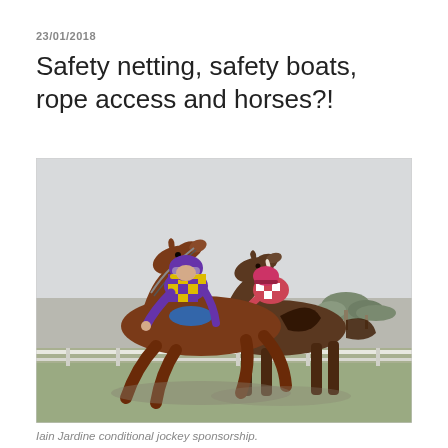23/01/2018
Safety netting, safety boats, rope access and horses?!
[Figure (photo): Two jockeys on horses racing, the lead jockey wearing purple and yellow checkered silks, the trailing jockey in pink and white. Overcast outdoor racecourse background.]
Iain Jardine conditional jockey sponsorship.